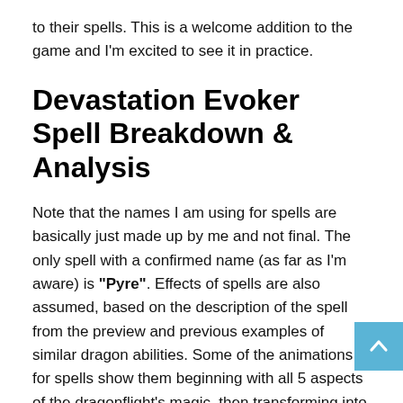to their spells. This is a welcome addition to the game and I'm excited to see it in practice.
Devastation Evoker Spell Breakdown & Analysis
Note that the names I am using for spells are basically just made up by me and not final. The only spell with a confirmed name (as far as I'm aware) is "Pyre". Effects of spells are also assumed, based on the description of the spell from the preview and previous examples of similar dragon abilities. Some of the animations for spells show them beginning with all 5 aspects of the dragonflight's magic, then transforming into their proper type. I will not cover healing spells today.
These spells are not just broken up by color for thematic reasons. According to the developers. Red spells are "very fast